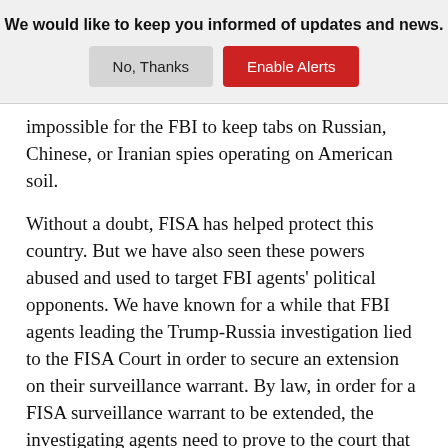We would like to keep you informed of updates and news.
impossible for the FBI to keep tabs on Russian, Chinese, or Iranian spies operating on American soil.
Without a doubt, FISA has helped protect this country. But we have also seen these powers abused and used to target FBI agents' political opponents. We have known for a while that FBI agents leading the Trump-Russia investigation lied to the FISA Court in order to secure an extension on their surveillance warrant. By law, in order for a FISA surveillance warrant to be extended, the investigating agents need to prove to the court that the investigation is bearing fruit.
We know that the FBI used FISA to spy on Trump Associate Carter Page. They told the courts that they were worried that Page was working with Russia to influence the Presidential election, and that Trump might have been in on